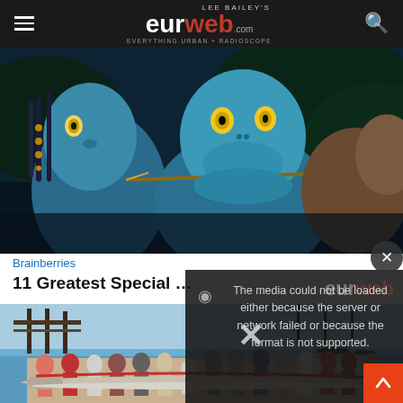LEE BAILEY'S eurweb EVERYTHING URBAN + RADIOSCOPE
[Figure (photo): Scene from Avatar movie showing blue Na'vi characters, close-up of two characters with braided hair and arrow, dark jungle background]
Brainberries
11 Greatest Special Effe...
[Figure (photo): Media error overlay: The media could not be loaded either because the server or network failed or because the format is not supported. Close button (X) visible. Background shows dark video player. Eurweb logo partially visible.]
[Figure (photo): Beach scene with a pier on the left, blue water, and a large group of people holding a very long oarfish on a beach. Red scroll-to-top button in bottom right corner.]